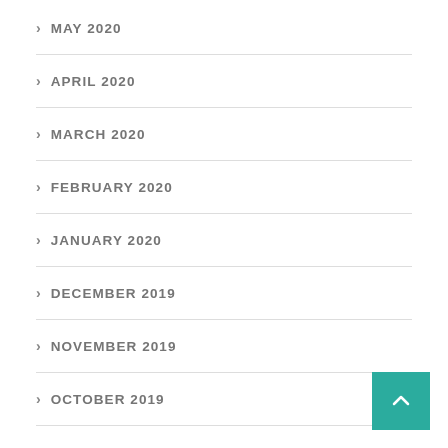MAY 2020
APRIL 2020
MARCH 2020
FEBRUARY 2020
JANUARY 2020
DECEMBER 2019
NOVEMBER 2019
OCTOBER 2019
SEPTEMBER 2019